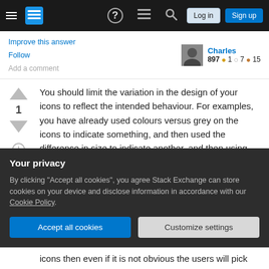[Figure (screenshot): Stack Exchange navigation bar with hamburger menu, logo, icons, Log in and Sign up buttons]
Improve this answer
Follow
Add a comment
Charles 897 ●1 ○7 ●15
You should limit the variation in the design of your icons to reflect the intended behaviour. For examples, you have already used colours versus grey on the icons to indicate something, and then used the difference in size to indicate another, and then using the whitespace and outlined icon to differentiate a behaviour. I would say that users are
Your privacy
By clicking "Accept all cookies", you agree Stack Exchange can store cookies on your device and disclose information in accordance with our Cookie Policy.
Accept all cookies
Customize settings
icons then even if it is not obvious the users will pick